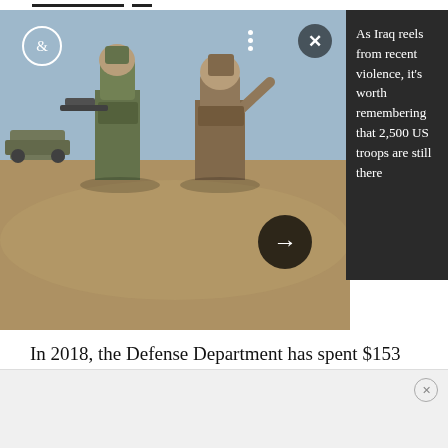[Figure (photo): Two soldiers in combat gear talking in a desert environment, one pointing with finger raised. Military vehicle visible in background.]
As Iraq reels from recent violence, it's worth remembering that 2,500 US troops are still there
In 2018, the Defense Department has spent $153 million to improve its financial systems, and that includes fixing vulnerabilities in IT security, he said. By taking care of those problems, the Pentagon will end up saving money.
“If people are able to get into your inventory or